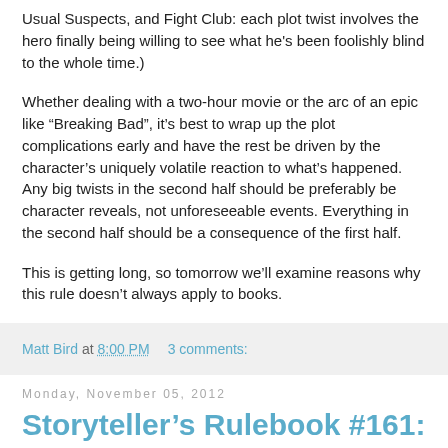Usual Suspects, and Fight Club: each plot twist involves the hero finally being willing to see what he's been foolishly blind to the whole time.)
Whether dealing with a two-hour movie or the arc of an epic like “Breaking Bad”, it’s best to wrap up the plot complications early and have the rest be driven by the character’s uniquely volatile reaction to what’s happened. Any big twists in the second half should be preferably be character reveals, not unforeseeable events. Everything in the second half should be a consequence of the first half.
This is getting long, so tomorrow we’ll examine reasons why this rule doesn’t always apply to books.
Matt Bird at 8:00 PM    3 comments:
Monday, November 05, 2012
Storyteller's Rulebook #161: Genius Doesn't Innovate, It Cultivates